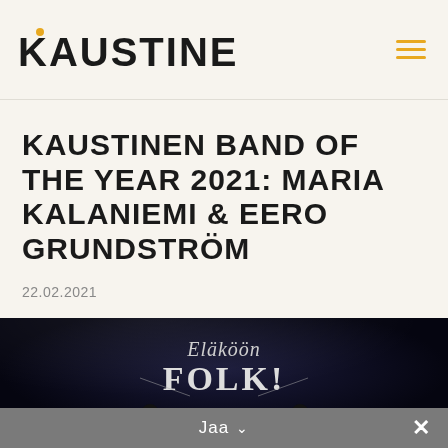KAUSTINEN
KAUSTINEN BAND OF THE YEAR 2021: MARIA KALANIEMI & EERO GRUNDSTRÖM
22.02.2021
[Figure (photo): Dark stage photo showing 'Eläköön Folk!' text on backdrop with silhouettes of performers below]
Jaa